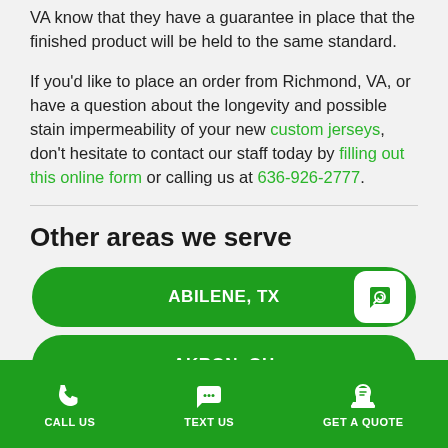VA know that they have a guarantee in place that the finished product will be held to the same standard.
If you'd like to place an order from Richmond, VA, or have a question about the longevity and possible stain impermeability of your new custom jerseys, don't hesitate to contact our staff today by filling out this online form or calling us at 636-926-2777.
Other areas we serve
ABILENE, TX
AKRON, OH
CALL US  TEXT US  GET A QUOTE